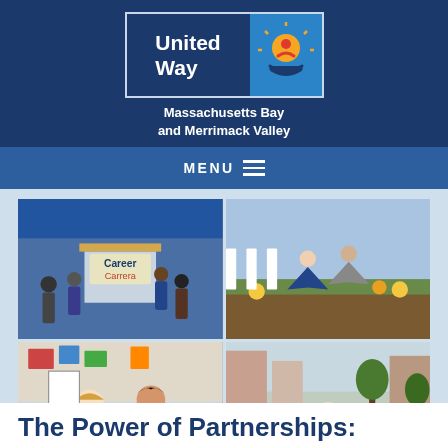[Figure (logo): United Way Massachusetts Bay and Merrimack Valley logo — blue rectangle with white text 'United Way' on left, sunburst/people icon on right in blue/orange/red]
Massachusetts Bay
and Merrimack Valley
MENU
[Figure (photo): Four-photo grid: top-left shows a career fair with 'Career/Carrera' sign and people at tables; top-right shows volunteers gardening/landscaping outdoors; bottom-left shows two students working together on art/drawing; bottom-right shows a group of people walking outdoors on a city street]
The Power of Partnerships: